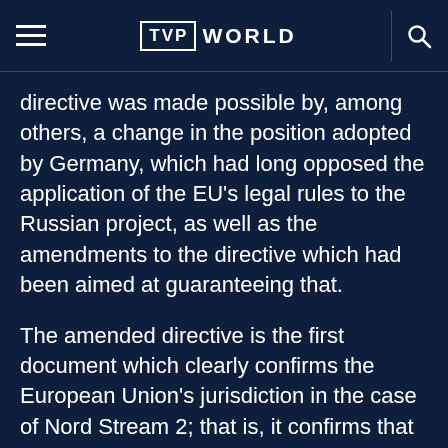TVP WORLD
directive was made possible by, among others, a change in the position adopted by Germany, which had long opposed the application of the EU’s legal rules to the Russian project, as well as the amendments to the directive which had been aimed at guaranteeing that.
The amended directive is the first document which clearly confirms the European Union’s jurisdiction in the case of Nord Stream 2; that is, it confirms that EU law applies to the part of the pipeline which will run through German territorial sea. This, therefore binds Russia to obey the EU law, thus making the Nord Stream 2 less detrimental to the economic interests of the countries bypassed by the gas pipeline, such as Poland.